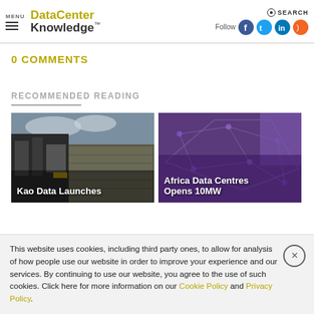MENU | DataCenter Knowledge | Follow | SEARCH
0 COMMENTS
RECOMMENDED READING
[Figure (photo): Photo of a data center exterior building with industrial equipment, with overlay text 'Kao Data Launches']
[Figure (photo): Purple abstract network graphic with overlay text 'Africa Data Centres Opens 10MW']
This website uses cookies, including third party ones, to allow for analysis of how people use our website in order to improve your experience and our services. By continuing to use our website, you agree to the use of such cookies. Click here for more information on our Cookie Policy and Privacy Policy.